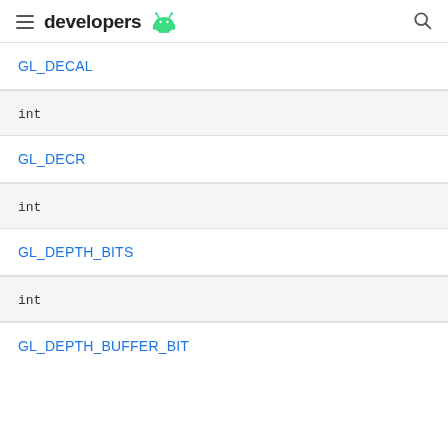developers
GL_DECAL
int
GL_DECR
int
GL_DEPTH_BITS
int
GL_DEPTH_BUFFER_BIT